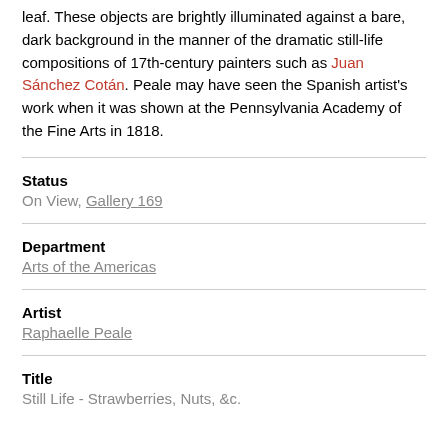leaf. These objects are brightly illuminated against a bare, dark background in the manner of the dramatic still-life compositions of 17th-century painters such as Juan Sánchez Cotán. Peale may have seen the Spanish artist's work when it was shown at the Pennsylvania Academy of the Fine Arts in 1818.
Status
On View, Gallery 169
Department
Arts of the Americas
Artist
Raphaelle Peale
Title
Still Life - Strawberries, Nuts, &c.